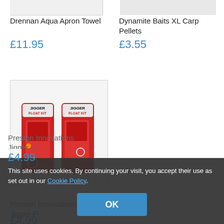[Figure (photo): Drennan Aqua Apron Towel product image (white background, cropped at top)]
Drennan Aqua Apron Towel
£11.95
[Figure (photo): Dynamite Baits XL Carp Pellets product image (white background, cropped at top)]
Dynamite Baits XL Carp Pellets
£3.55
[Figure (photo): Two red Preston Innovations Jigger Float Kit packages shown side by side]
Preston Innovations Jigger Float Kit
£4.99
This site uses cookies. By continuing your visit, you accept their use as set out in our Cookie Policy.